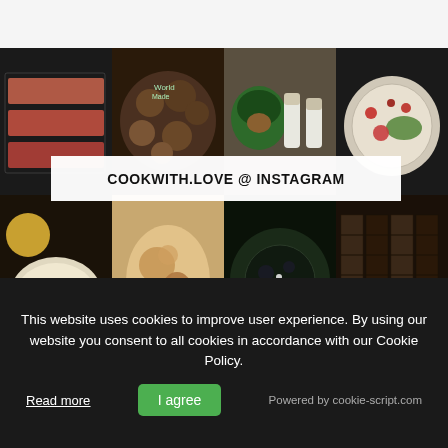[Figure (photo): Instagram food photo grid showing 8 food/lifestyle photos with overlay text COOKWITH.LOVE @ INSTAGRAM]
COOKWITH.LOVE @ INSTAGRAM
ABOUT
This website uses cookies to improve user experience. By using our website you consent to all cookies in accordance with our Cookie Policy.
Read more
I agree
Powered by cookie-script.com